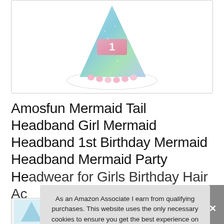[Figure (photo): A glittery blue-green party hat with pink pom-pom trim and a pink number '1' badge, with an elastic string, shown on white background inside a bordered box.]
Amosfun Mermaid Tail Headband Girl Mermaid Headband 1st Birthday Mermaid Headband Mermaid Party Headwear for Girls Birthday Hair Ac...
[Figure (photo): Thumbnail row showing product images partially visible at bottom of page.]
As an Amazon Associate I earn from qualifying purchases. This website uses the only necessary cookies to ensure you get the best experience on our website. More information